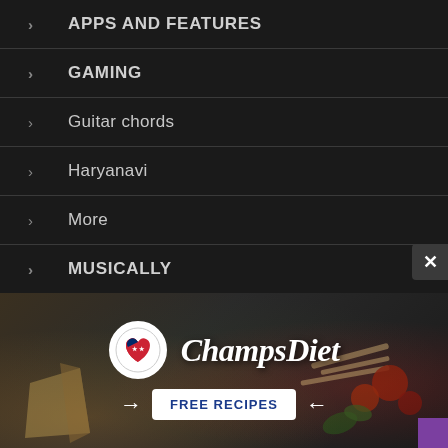APPS AND FEATURES
GAMING
Guitar chords
Haryanavi
More
MUSICALLY
TECH
Trending updates
Uncategorized
[Figure (infographic): ChampsDiet advertisement banner with logo circle containing US flag heart, brand name in cursive script, and FREE RECIPES button with arrows, set against food background with tomatoes, pasta, cheese, herbs]